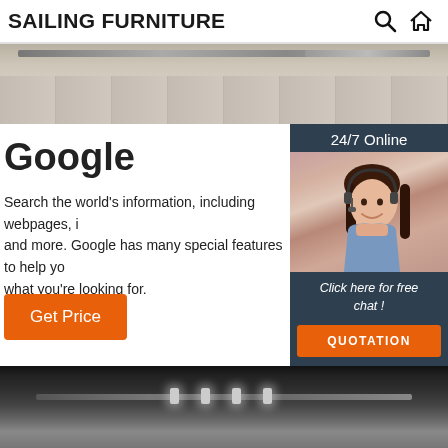SAILING FURNITURE
[Figure (photo): Hardwood floor with track lighting or rails visible at the top, light beige/grey wood planks]
Google
Search the world's information, including webpages, i and more. Google has many special features to help yo what you're looking for.
Get Price
[Figure (infographic): 24/7 Online customer service widget with a woman wearing a headset, dark blue background, and 'Click here for free chat!' text with a QUOTATION button]
[Figure (photo): Interior room or furniture showroom with dark ceiling and track lighting]